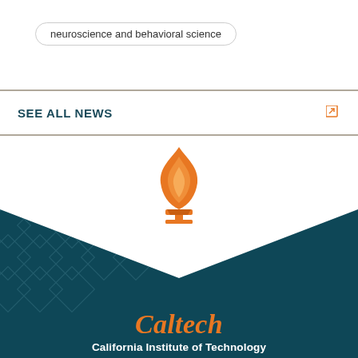neuroscience and behavioral science
SEE ALL NEWS
[Figure (logo): Caltech torch flame logo above dark teal footer with diamond pattern, orange Caltech wordmark, and white California Institute of Technology text]
California Institute of Technology